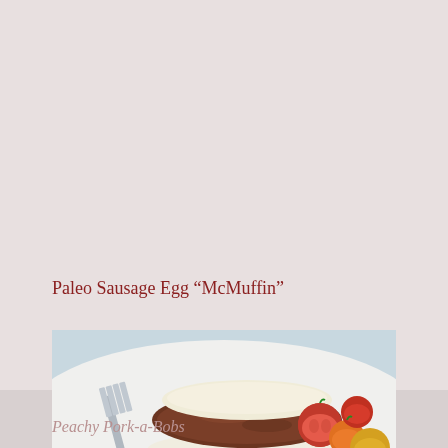Paleo Sausage Egg “McMuffin”
[Figure (photo): A sausage patty sandwich made with egg whites as the bun (paleo McMuffin), served on a white plate with a fork and colorful cherry tomatoes (red, orange, yellow) on the side. Close-up food photography with a light background.]
Peachy Pork-a-Bobs